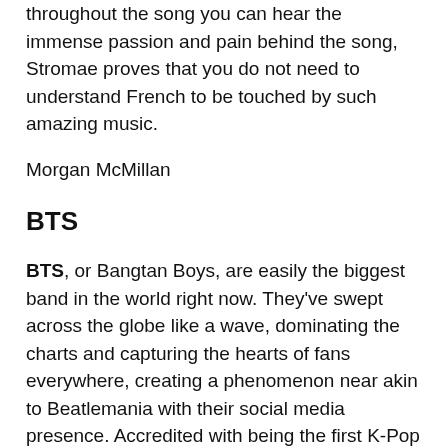throughout the song you can hear the immense passion and pain behind the song, Stromae proves that you do not need to understand French to be touched by such amazing music.
Morgan McMillan
BTS
BTS, or Bangtan Boys, are easily the biggest band in the world right now. They've swept across the globe like a wave, dominating the charts and capturing the hearts of fans everywhere, creating a phenomenon near akin to Beatlemania with their social media presence. Accredited with being the first K-Pop band to properly hit the mainstream, BTS' music shifts from upbeat, trap-esque pop tunes like 'Fire' to mellowed out ballads like 'Spring Day'. A personal favourite album of theirs is Wings; definitely one to check out if you're into concept albums that completely